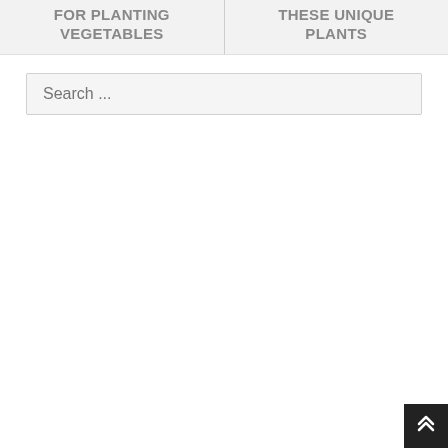FOR PLANTING VEGETABLES
THESE UNIQUE PLANTS
Search ...
[Figure (other): Scroll to top button with upward chevron arrows icon, dark background]